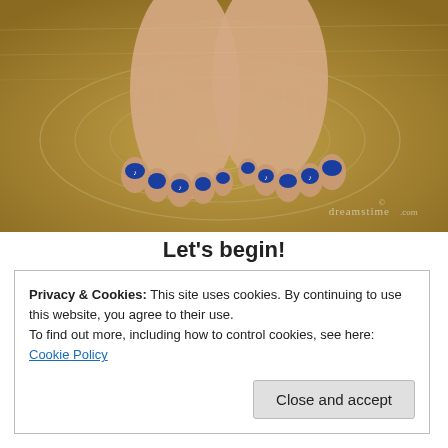[Figure (photo): Close-up photo of two bare feet with blue and white nail art resting in shallow rippling golden water, with circular ripple patterns around the feet. Dreamstime.com watermark visible in bottom right.]
Let's begin!
Privacy & Cookies: This site uses cookies. By continuing to use this website, you agree to their use.
To find out more, including how to control cookies, see here: Cookie Policy
Close and accept